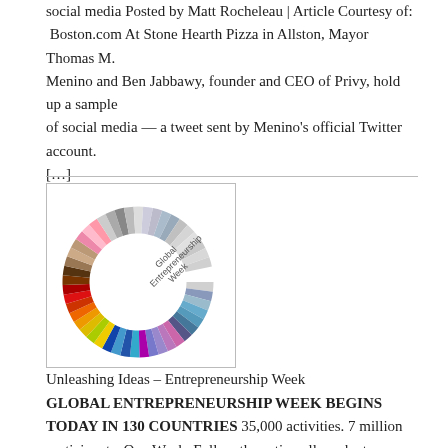social media Posted by Matt Rocheleau | Article Courtesy of: Boston.com At Stone Hearth Pizza in Allston, Mayor Thomas M. Menino and Ben Jabbawy, founder and CEO of Privy, hold up a sample of social media — a tweet sent by Menino's official Twitter account. […]
[Figure (donut-chart): Colorful donut/ring chart with text 'Global Entrepreneurship Week' in the center-right, representing Global Entrepreneurship Week logo]
Unleashing Ideas – Entrepreneurship Week
GLOBAL ENTREPRENEURSHIP WEEK BEGINS TODAY IN 130 COUNTRIES 35,000 activities. 7 million participants. One Week. Follow the action all week at www.unleashingideas.org UNLEASHING IDEAS WASHINGTON, DC – As economists and policymakers alike focus on the coming fiscal cliff in the U.S. and its global impact, the number of entrepreneurs are estimated to lift over 1 million from poverty